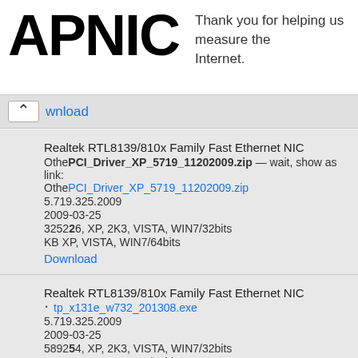APNIC — Thank you for helping us measure the Internet.
wnload
Realtek RTL8139/810x Family Fast Ethernet NIC
OtherPCI_Driver_XP_5719_11202009.zip
5.719.325.2009
2009-03-25
325226 XP, 2K3, VISTA, WIN7/32bits
KB XP, VISTA, WIN7/64bits
Download
Realtek RTL8139/810x Family Fast Ethernet NIC
tp_x131e_w732_201308.exe
5.719.325.2009
2009-03-25
589254 XP, 2K3, VISTA, WIN7/32bits
MB XP, VISTA, WIN7/64bits
Download
Realtek RTL8139/810x Family Fast Ethernet NIC
c4etn04us17_xp.exe
5.719.325.2009
2009-03-25